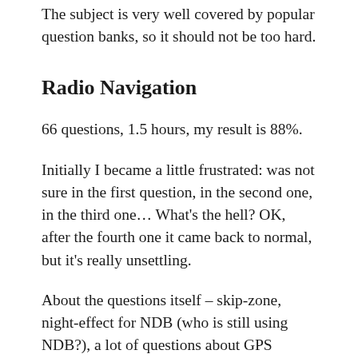The subject is very well covered by popular question banks, so it should not be too hard.
Radio Navigation
66 questions, 1.5 hours, my result is 88%.
Initially I became a little frustrated: was not sure in the first question, in the second one, in the third one… What's the hell? OK, after the fourth one it came back to normal, but it's really unsettling.
About the questions itself – skip-zone, night-effect for NDB (who is still using NDB?), a lot of questions about GPS (totally understandable),